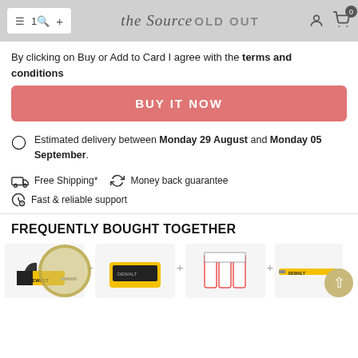The Source | SOLD OUT
By clicking on Buy or Add to Card I agree with the terms and conditions
BUY IT NOW
Estimated delivery between Monday 29 August and Monday 05 September.
Free Shipping*   Money back guarantee
Fast & reliable support
FREQUENTLY BOUGHT TOGETHER
[Figure (photo): Product images of a DeWalt reciprocating saw, battery charger, saw blades set, and a reciprocating saw blade arranged in a row with plus signs between them]